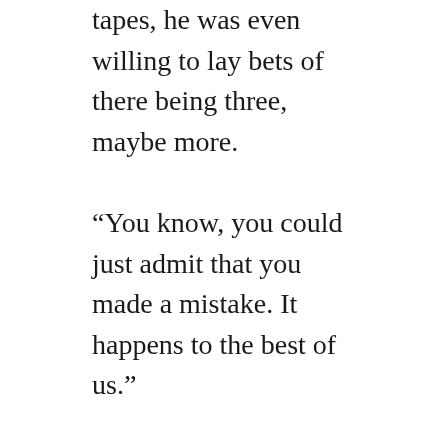tapes, he was even willing to lay bets of there being three, maybe more.

“You know, you could just admit that you made a mistake. It happens to the best of us.”